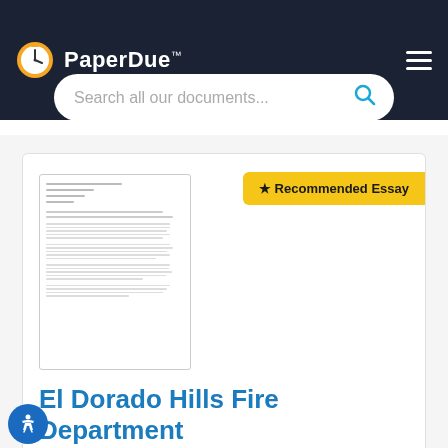PaperDue™
Search all our documents...
[Figure (screenshot): Thumbnail preview of a document page with lines of text]
★ Recommended Essay
El Dorado Hills Fire Department
Words: 807   Length: 3 Pages   Document Type: Essay
Paper #: 33516660